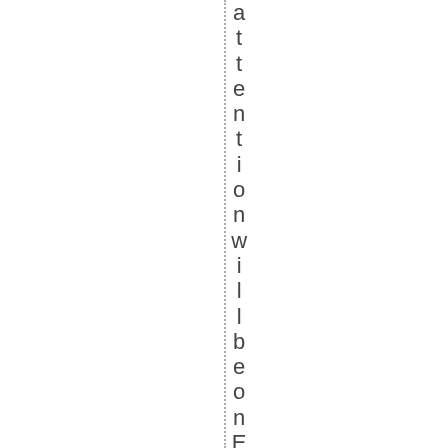attention will be on El-Manning